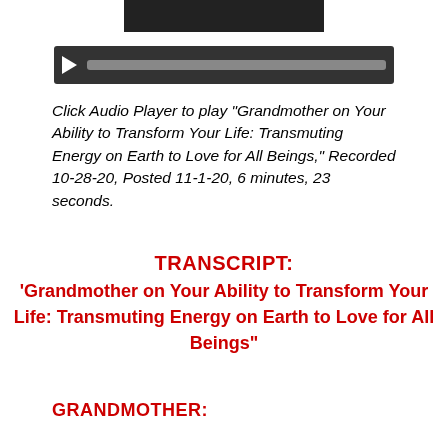[Figure (photo): Partial photo cropped at top of page, dark image]
[Figure (other): Audio player bar with play button and progress bar]
Click Audio Player to play "Grandmother on Your Ability to Transform Your Life: Transmuting Energy on Earth to Love for All Beings," Recorded 10-28-20, Posted 11-1-20, 6 minutes, 23 seconds.
TRANSCRIPT:
'Grandmother on Your Ability to Transform Your Life: Transmuting Energy on Earth to Love for All Beings"
GRANDMOTHER: